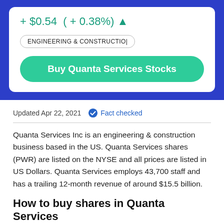+ $0.54  ( + 0.38%) ▲
ENGINEERING & CONSTRUCTION
Buy Quanta Services Stocks
Updated Apr 22, 2021   Fact checked
Quanta Services Inc is an engineering & construction business based in the US. Quanta Services shares (PWR) are listed on the NYSE and all prices are listed in US Dollars. Quanta Services employs 43,700 staff and has a trailing 12-month revenue of around $15.5 billion.
How to buy shares in Quanta Services
Compare share trading platforms. Use our comparison table to help you find a platform that fits